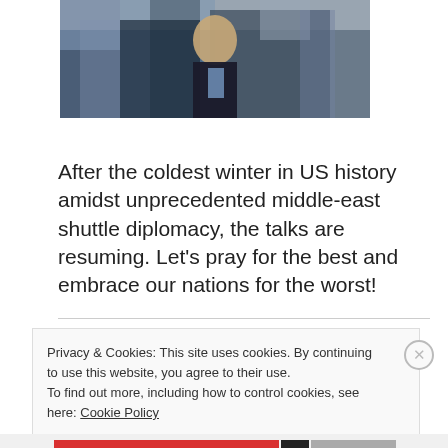[Figure (photo): Photograph of a man in a suit with flags in the background]
After the coldest winter in US history amidst unprecedented middle-east shuttle diplomacy, the talks are resuming. Let's pray for the best and embrace our nations for the worst!
Privacy & Cookies: This site uses cookies. By continuing to use this website, you agree to their use.
To find out more, including how to control cookies, see here: Cookie Policy
Close and accept